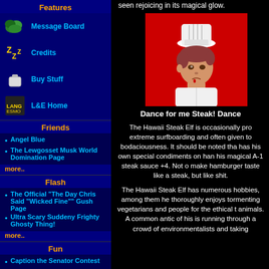Features
Message Board
Credits
Buy Stuff
L&E Home
Friends
Angel Blue
The Lewgosset Musk World Domination Page
more..
Flash
The Official "The Day Chris Said "Wicked Fine"" Gush Page
Ultra Scary Suddeny Frighty Ghosty Thing!
more..
Fun
Caption the Senator Contest
The L&E Boyfriend Generator
more
seen rejoicing in its magical glow.
[Figure (illustration): Anime-style character wearing a white chef hat and outfit, on a red background]
Dance for me Steak! Dance
The Hawaii Steak Elf is occasionally pro extreme surfboarding and often given to bodaciousness. It should be noted tha has his own special condiments on han his magical A-1 steak sauce +4. Not o make hamburger taste like a steak, bu like shit.
The Hawaii Steak Elf has numerous hobbies, among them he thoroughly enjoys tormenting vegetarians and people for the ethical treatment of animals. A common antic of his is running through a crowd of environmentalists and taking